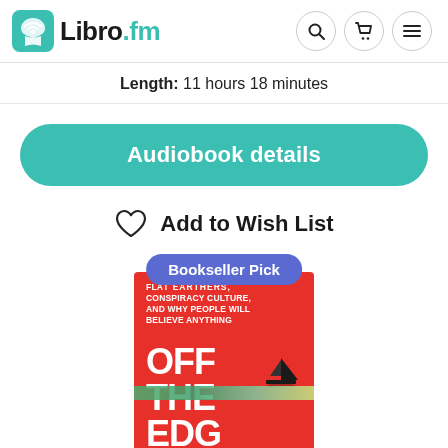Libro.fm
Length: 11 hours 18 minutes
Audiobook details
Add to Wish List
[Figure (illustration): Book cover for 'Off The Edge' — a red cover with white bold text reading OFF THE EDGE, subtitle text FLAT EARTHERS, CONSPIRACY CULTURE, AND WHY PEOPLE WILL BELIEVE ANYTHING, with a paint stripe and small sailing ship illustration. A blue 'Bookseller Pick' badge overlays the top.]